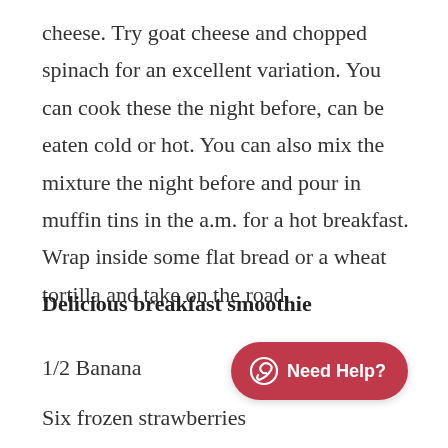cheese. Try goat cheese and chopped spinach for an excellent variation. You can cook these the night before, can be eaten cold or hot. You can also mix the mixture the night before and pour in muffin tins in the a.m. for a hot breakfast. Wrap inside some flat bread or a wheat tortilla and take on the road.
Delicious breakfast smoothie
1/2 Banana
Six frozen strawberries